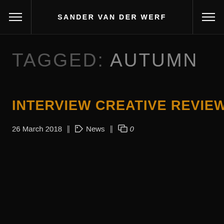SANDER VAN DER WERF
TAGGED: AUTUMN
INTERVIEW CREATIVE REVIEW
26 March 2018 || News || 0